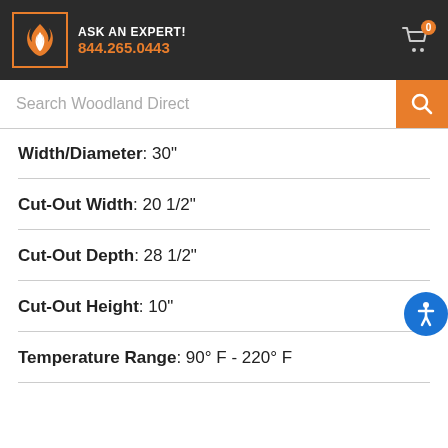ASK AN EXPERT! 844.265.0443
Search Woodland Direct
Width/Diameter: 30"
Cut-Out Width: 20 1/2"
Cut-Out Depth: 28 1/2"
Cut-Out Height: 10"
Temperature Range: 90° F - 220° F